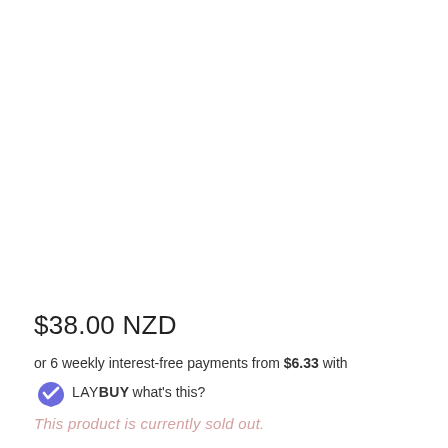$38.00 NZD
or 6 weekly interest-free payments from $6.33 with LAY BUY what's this?
This product is currently sold out.